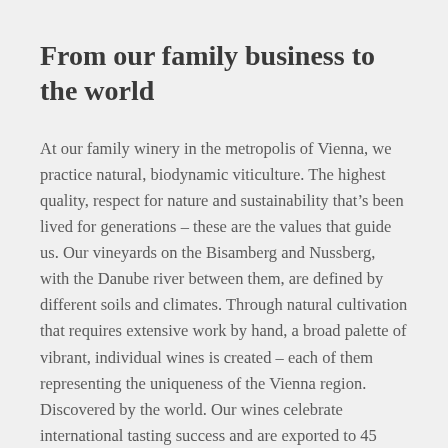From our family business to the world
At our family winery in the metropolis of Vienna, we practice natural, biodynamic viticulture. The highest quality, respect for nature and sustainability that’s been lived for generations – these are the values that guide us. Our vineyards on the Bisamberg and Nussberg, with the Danube river between them, are defined by different soils and climates. Through natural cultivation that requires extensive work by hand, a broad palette of vibrant, individual wines is created – each of them representing the uniqueness of the Vienna region. Discovered by the world. Our wines celebrate international tasting success and are exported to 45 countries on all continents.